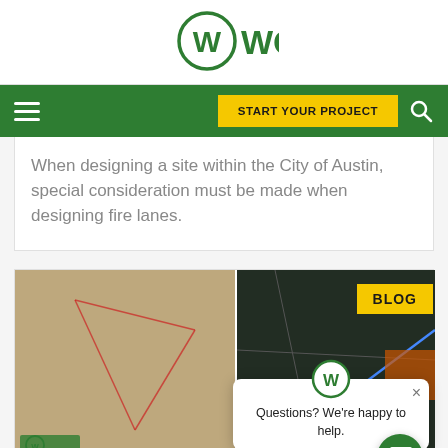WGI
When designing a site within the City of Austin, special consideration must be made when designing fire lanes.
[Figure (screenshot): Screenshot of WGI website blog card showing aerial map images of land parcels with a green WGI logo, a yellow BLOG label, and a chat popup saying 'Questions? We're happy to help.' with a green chat button in the lower right corner.]